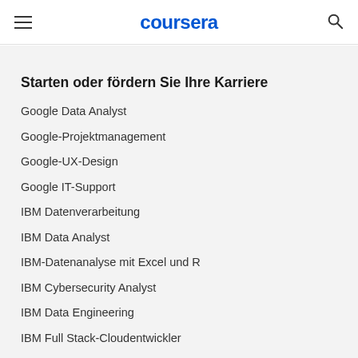coursera
Starten oder fördern Sie Ihre Karriere
Google Data Analyst
Google-Projektmanagement
Google-UX-Design
Google IT-Support
IBM Datenverarbeitung
IBM Data Analyst
IBM-Datenanalyse mit Excel und R
IBM Cybersecurity Analyst
IBM Data Engineering
IBM Full Stack-Cloudentwickler
Facebook Social Media Marketing